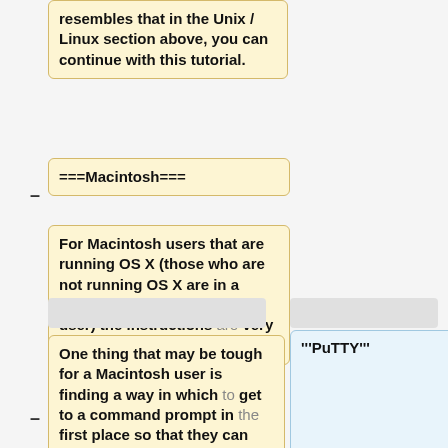resembles that in the Unix / Linux section above, you can continue with this tutorial.
===Macintosh===
For Macintosh users that are running OS X (those who are not running OS X are in a whole different category of user) the instructions are very similar to those of Linux.
One thing that may be tough for a Macintosh user is finding a way in which to get to a command prompt in the first place so that they can use the linux-style commands. In order to get a command prompt, you need
'''PuTTY'''